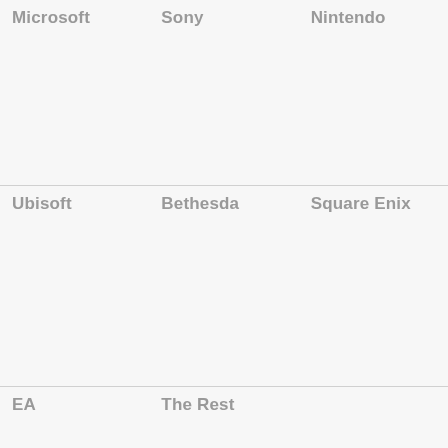Microsoft
Sony
Nintendo
Ubisoft
Bethesda
Square Enix
EA
The Rest